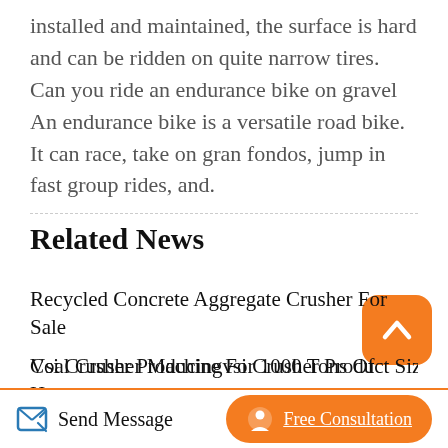installed and maintained, the surface is hard and can be ridden on quite narrow tires. Can you ride an endurance bike on gravel An endurance bike is a versatile road bike. It can race, take on gran fondos, jump in fast group rides, and.
Related News
Recycled Concrete Aggregate Crusher For Sale
Coal Crusher Machine For 1000 Tons Of Hours
Small Gold Crushing And Milling Plant Crusher For Sale
Vsi Crusher Producingvsi Crusher Product Size
Send Message   Free Consultation